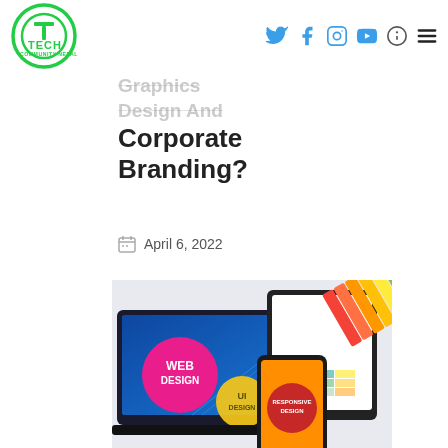Tech Community Nepal logo and navigation bar with social icons
Why Tech Community Nepal Graphics Design And Corporate Branding?
April 6, 2022
[Figure (photo): A composite image showing a laptop with 'WEB DESIGN' and 'UI DESIGN' circles on screen, a smartphone displaying 'RESPONSIVE DESIGN', and a tablet with colorful paint fan/swatch cards fanned out]